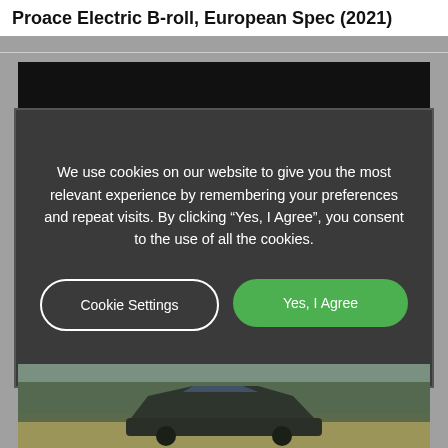Proace Electric B-roll, European Spec (2021)
[Figure (screenshot): Cookie consent overlay dialog on a website showing a dark modal with text about cookie usage and two buttons: 'Cookie Settings' and 'Yes, I Agree']
We use cookies on our website to give you the most relevant experience by remembering your preferences and repeat visits. By clicking “Yes, I Agree”, you consent to the use of all the cookies.
[Figure (photo): Outdoor photograph of a car (Toyota Proace Electric) viewed from the front, on a road with trees and fields in the background under an overcast sky]